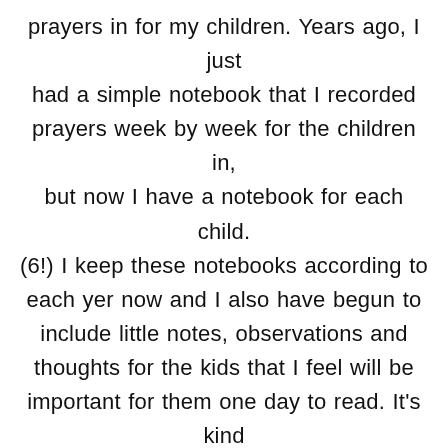prayers in for my children. Years ago, I just had a simple notebook that I recorded prayers week by week for the children in, but now I have a notebook for each child. (6!) I keep these notebooks according to each yer now and I also have begun to include little notes, observations and thoughts for the kids that I feel will be important for them one day to read. It's kind of like journaling, but later it will be a keepsake for them.

In each notebook, I have the child's name and the year it is recorded on the outside